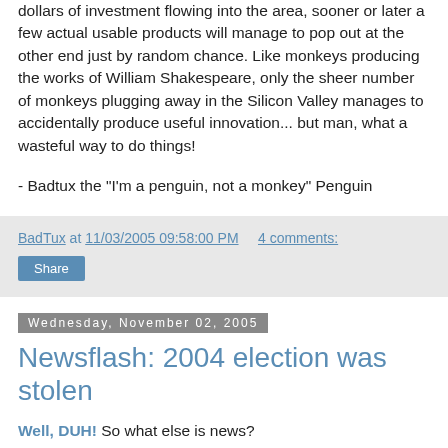dollars of investment flowing into the area, sooner or later a few actual usable products will manage to pop out at the other end just by random chance. Like monkeys producing the works of William Shakespeare, only the sheer number of monkeys plugging away in the Silicon Valley manages to accidentally produce useful innovation... but man, what a wasteful way to do things!
- Badtux the "I'm a penguin, not a monkey" Penguin
BadTux at 11/03/2005 09:58:00 PM   4 comments:
Share
Wednesday, November 02, 2005
Newsflash: 2004 election was stolen
Well, DUH! So what else is news?
The thing is, it couldn't have been stolen if 2/3rds of the American people had decided to throw the bums out on their butt. It would have so glaringly obvious in that case that no